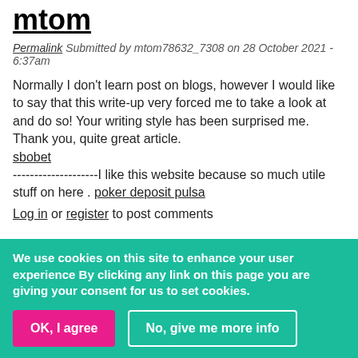mtom
Permalink Submitted by mtom78632_7308 on 28 October 2021 - 6:37am
Normally I don't learn post on blogs, however I would like to say that this write-up very forced me to take a look at and do so! Your writing style has been surprised me. Thank you, quite great article. sbobet --------------------I like this website because so much utile stuff on here . poker deposit pulsa
Log in or register to post comments
This is such a great resource
Permalink Submitted by simomay562_9199 on 28 October 2021 - 12:40pm
This is such a great resource that you are providing and you give it
We use cookies on this site to enhance your user experience By clicking any link on this page you are giving your consent for us to set cookies.